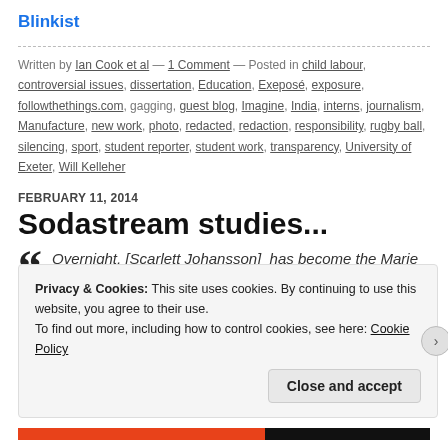Blinkist
Written by Ian Cook et al — 1 Comment — Posted in child labour, controversial issues, dissertation, Education, Exeposé, exposure, followthethings.com, gagging, guest blog, Imagine, India, interns, journalism, Manufacture, new work, photo, redacted, redaction, responsibility, rugby ball, silencing, sport, student reporter, student work, transparency, University of Exeter, Will Kelleher
FEBRUARY 11, 2014
Sodastream studies...
Overnight, [Scarlett Johansson] has become the Marie Antoinette of the Israeli-Palestinian conflict, smiling regally
Privacy & Cookies: This site uses cookies. By continuing to use this website, you agree to their use. To find out more, including how to control cookies, see here: Cookie Policy
Close and accept